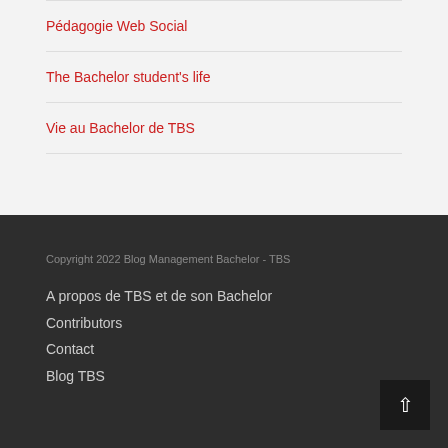Pédagogie Web Social
The Bachelor student's life
Vie au Bachelor de TBS
Copyright 2022 Blog Management Bachelor - TBS
A propos de TBS et de son Bachelor
Contributors
Contact
Blog TBS